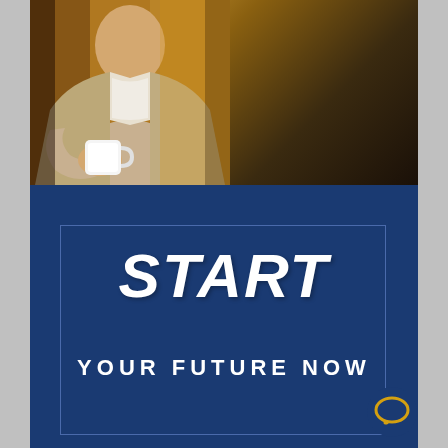[Figure (photo): A person holding a white coffee mug, wearing a light beige/cream jacket, photographed from mid-chest up against a warm brown/amber background]
START
YOUR FUTURE NOW